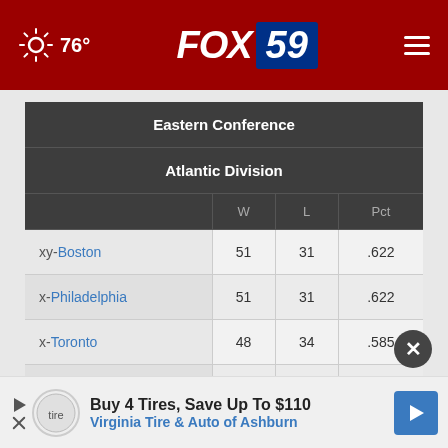76° FOX 59
|  | W | L | Pct |
| --- | --- | --- | --- |
| xy-Boston | 51 | 31 | .622 |
| x-Philadelphia | 51 | 31 | .622 |
| x-Toronto | 48 | 34 | .585 |
| x-Brooklyn | 44 | 38 | .537 |
| New York | 37 | 45 | .451 |
Buy 4 Tires, Save Up To $110 Virginia Tire & Auto of Ashburn